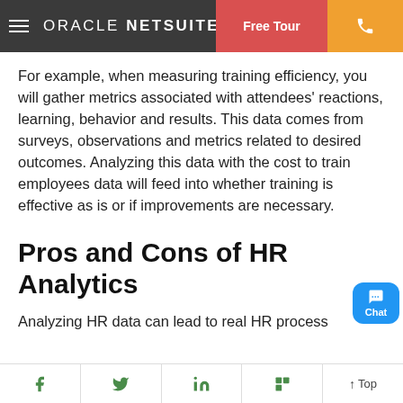ORACLE NETSUITE
For example, when measuring training efficiency, you will gather metrics associated with attendees' reactions, learning, behavior and results. This data comes from surveys, observations and metrics related to desired outcomes. Analyzing this data with the cost to train employees data will feed into whether training is effective as is or if improvements are necessary.
Pros and Cons of HR Analytics
Analyzing HR data can lead to real HR process improvements. At the same time, HR data is used...
f  Twitter  in  Flipboard  ↑ Top